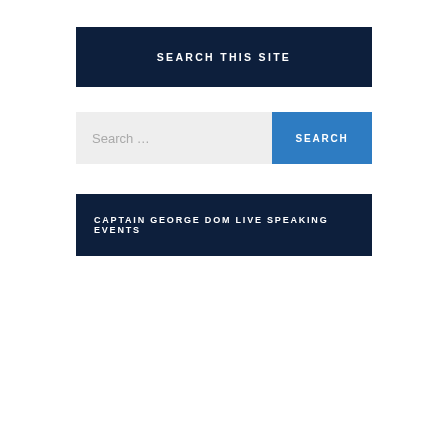SEARCH THIS SITE
[Figure (screenshot): Search input field with placeholder text 'Search ...' and a blue 'SEARCH' button]
CAPTAIN GEORGE DOM LIVE SPEAKING EVENTS